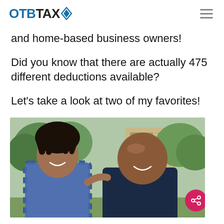OTBTAX
and home-based business owners!
Did you know that there are actually 475 different deductions available?
Let’s take a look at two of my favorites!
[Figure (photo): Two smiling men, younger man with dreadlocks wearing plaid shirt on left, older bald man wearing navy polo on right, with green trees and building in background]